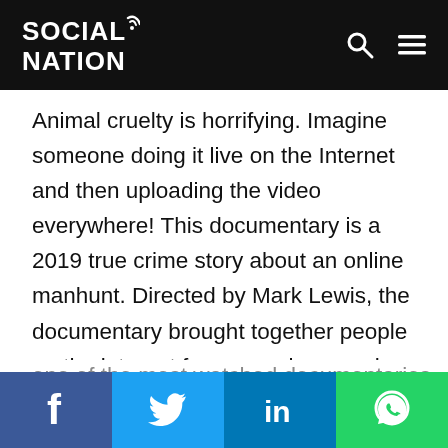Social Nation
Animal cruelty is horrifying. Imagine someone doing it live on the Internet and then uploading the video everywhere! This documentary is a 2019 true crime story about an online manhunt. Directed by Mark Lewis, the documentary brought together people on the internet for a crowd sourced investigation after the video 1 boy 2 kittens was released on Facebook. In the video the boy was shown murdering cats in the most inhuman way. The internet group worked together to examine the details of the video, including the objects in the room, to help solve the
one of the most watched documentaries on Netflix and we